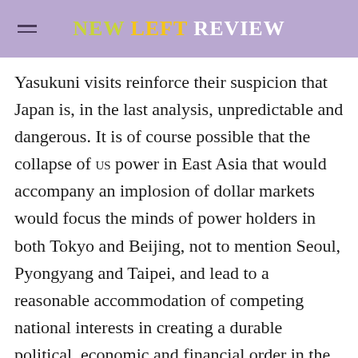New Left Review
Yasukuni visits reinforce their suspicion that Japan is, in the last analysis, unpredictable and dangerous. It is of course possible that the collapse of US power in East Asia that would accompany an implosion of dollar markets would focus the minds of power holders in both Tokyo and Beijing, not to mention Seoul, Pyongyang and Taipei, and lead to a reasonable accommodation of competing national interests in creating a durable political, economic and financial order in the region to replace the current export-led dependence on the US market. Alas, neither history nor contemporary realities offer